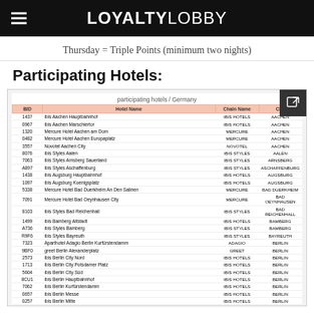LOYALTYLOBBY
Thursday = Triple Points (minimum two nights)
Participating Hotels:
| BID | Hotel Name | Chain Name | City |
| --- | --- | --- | --- |
| 1437 | ibis Aachen Hauptbahnhof | IBIS HOTELS | AACHEN |
| 0967 | ibis Aachen Marschiertor | IBIS HOTELS | AACHEN |
| 1320 | Mercure Hotel Aachen am Dom | MERCURE | AACHEN |
| 0482 | Mercure Hotel Aachen Europaplatz | MERCURE | AACHEN |
| 3557 | Novotel Aachen City | NOVOTEL | AACHEN |
| 8076 | ibis Styles Aalen | IBIS STYLES | AALEN |
| 7063 | ibis Styles Arnsberg Sauerland | IBIS STYLES | ARNSBERG |
| A897 | ibis Styles Aschaffenburg | IBIS STYLES | ASCHAFFENBURG |
| 1438 | ibis Augsburg Hauptbahnhof | IBIS HOTELS | AUGSBURG |
| 1097 | ibis Augsburg Koenigsplatz | IBIS HOTELS | AUGSBURG |
| 5338 | Mercure Hotel Bad Duerkheim An Den Salinen | MERCURE | BAD DUERKHEIM |
| 7091 | Mercure Hotel Bad Oeynhausen City | MERCURE | BAD OEYNHAUSEN |
| 8103 | ibis Styles Bad Reichenhall | IBIS STYLES | BAD REICHENHALL |
| 1499 | ibis Bamberg Altstadt | IBIS HOTELS | BAMBERG |
| A736 | ibis Styles Bamberg | IBIS STYLES | BAMBERG |
| R9F6 | ibis Styles Bayreuth | IBIS STYLES | BAYREUTH |
| 7323 | Aparthotel Adagio Berlin Kurfürstendamm | ADAGIO | BERLIN |
| 9BF0 | greet Berlin Alexanderplatz | GREET | BERLIN |
| 2573 | ibis Berlin City Nord | IBIS HOTELS | BERLIN |
| 1713 | ibis Berlin City Potsdamer Platz | IBIS HOTELS | BERLIN |
| 5604 | ibis Berlin City Süd | IBIS HOTELS | BERLIN |
| 8CU1 | ibis Berlin Hauptbahnhof | IBIS HOTELS | BERLIN |
| 7062 | ibis Berlin Kurfürstendamm | IBIS HOTELS | BERLIN |
| 0657 | ibis Berlin Messe | IBIS HOTELS | BERLIN |
| 0257 | ibis Berlin Mitte | IBIS HOTELS | BERLIN |